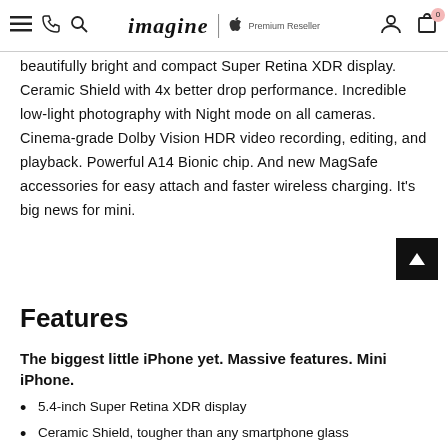imagine | Apple Premium Reseller
beautifully bright and compact Super Retina XDR display. Ceramic Shield with 4x better drop performance. Incredible low-light photography with Night mode on all cameras. Cinema-grade Dolby Vision HDR video recording, editing, and playback. Powerful A14 Bionic chip. And new MagSafe accessories for easy attach and faster wireless charging. It's big news for mini.
Features
The biggest little iPhone yet. Massive features. Mini iPhone.
5.4-inch Super Retina XDR display
Ceramic Shield, tougher than any smartphone glass
A14 Bionic chip, the fastest chip ever in a smartphone
Advanced dual-camera system with 12MP Ultra Wide and